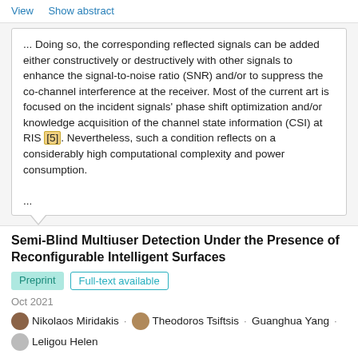View    Show abstract
... Doing so, the corresponding reflected signals can be added either constructively or destructively with other signals to enhance the signal-to-noise ratio (SNR) and/or to suppress the co-channel interference at the receiver. Most of the current art is focused on the incident signals' phase shift optimization and/or knowledge acquisition of the channel state information (CSI) at RIS [5]. Nevertheless, such a condition reflects on a considerably high computational complexity and power consumption.
...
Semi-Blind Multiuser Detection Under the Presence of Reconfigurable Intelligent Surfaces
Preprint   Full-text available
Oct 2021
Nikolaos Miridakis · Theodoros Tsiftsis · Guanghua Yang · Leligou Helen
View    Show abstract